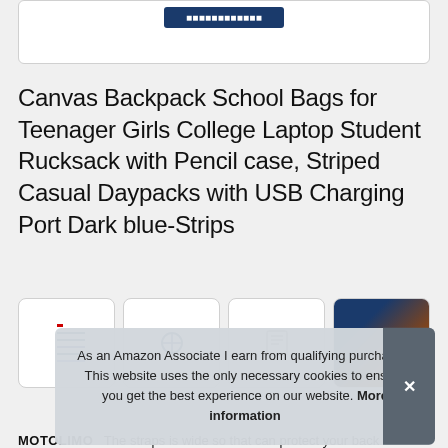[Figure (screenshot): Top portion of a product card with a dark blue button visible at the top]
Canvas Backpack School Bags for Teenager Girls College Laptop Student Rucksack with Pencil case, Striped Casual Daypacks with USB Charging Port Dark blue-Strips
[Figure (screenshot): Row of four product thumbnail images showing different views of the backpack]
As an Amazon Associate I earn from qualifying purchases. This website uses the only necessary cookies to ensure you get the best experience on our website. More information
MOTOLIMO   The straps is wide so that can protect your back